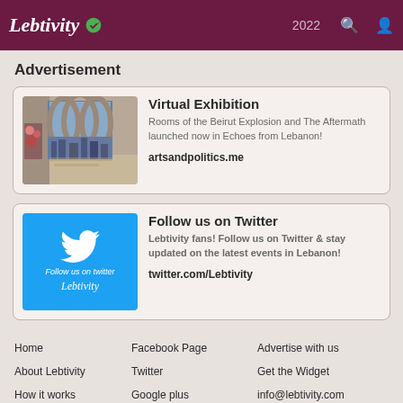Lebtivity 2022
Advertisement
[Figure (photo): Virtual exhibition showing ornate arched windows with a view of a destroyed cityscape from the Beirut explosion]
Virtual Exhibition
Rooms of the Beirut Explosion and The Aftermath launched now in Echoes from Lebanon!
artsandpolitics.me
[Figure (logo): Cyan Twitter follow box with bird icon and Lebtivity logo text saying Follow us on twitter]
Follow us on Twitter
Lebtivity fans! Follow us on Twitter & stay updated on the latest events in Lebanon!
twitter.com/Lebtivity
Home   Facebook Page   Advertise with us
About Lebtivity   Twitter   Get the Widget
How it works   Google plus   info@lebtivity.com